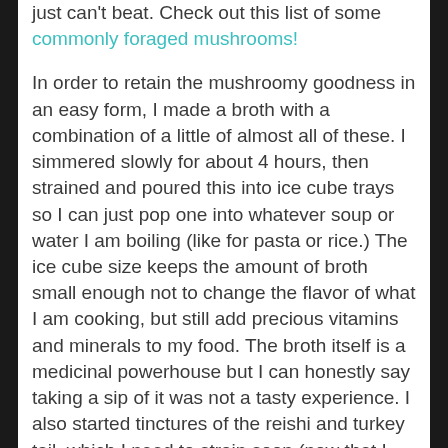just can't beat. Check out this list of some commonly foraged mushrooms!
In order to retain the mushroomy goodness in an easy form, I made a broth with a combination of a little of almost all of these. I simmered slowly for about 4 hours, then strained and poured this into ice cube trays so I can just pop one into whatever soup or water I am boiling (like for pasta or rice.) The ice cube size keeps the amount of broth small enough not to change the flavor of what I am cooking, but still add precious vitamins and minerals to my food. The broth itself is a medicinal powerhouse but I can honestly say taking a sip of it was not a tasty experience. I also started tinctures of the reishi and turkey tail, which I need to strain soon (now that I think about it) and remove the mushrooms to do a water decoction. Different constituents are extracted with different methods, so I do a double decocted tincture with my foraged medicinal mushrooms. Then I strain and combine equal parts decoction with the alcohol